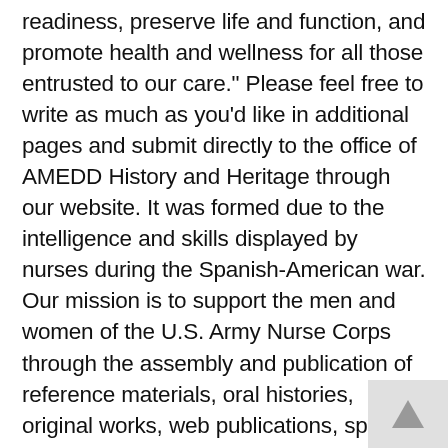readiness, preserve life and function, and promote health and wellness for all those entrusted to our care." Please feel free to write as much as you'd like in additional pages and submit directly to the office of AMEDD History and Heritage through our website. It was formed due to the intelligence and skills displayed by nurses during the Spanish-American war. Our mission is to support the men and women of the U.S. Army Nurse Corps through the assembly and publication of reference materials, oral histories, original works, web publications, special studies, AMEDD newspaper/professional publications and print series. Upon Flikke's retirement in 1943, she was succeeded by Florence A. Blanchfield, who successfully promoted new laws in 1947, that established the Army, Navy and Air Force Nurse Corps on a permanent basis, giving the nurses regular commissions on exactly the same terms as male officers. This year the Army Nurse Corps celebrates its 114th anniversary. An Army